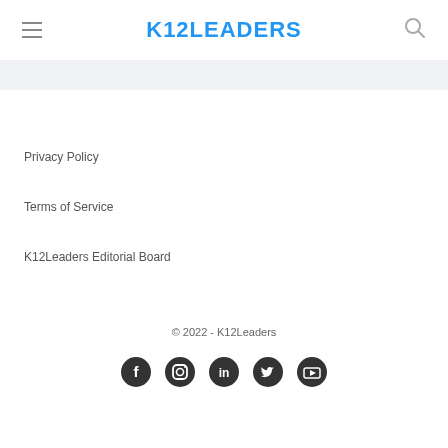K12LEADERS
Privacy Policy
Terms of Service
K12Leaders Editorial Board
© 2022 - K12Leaders